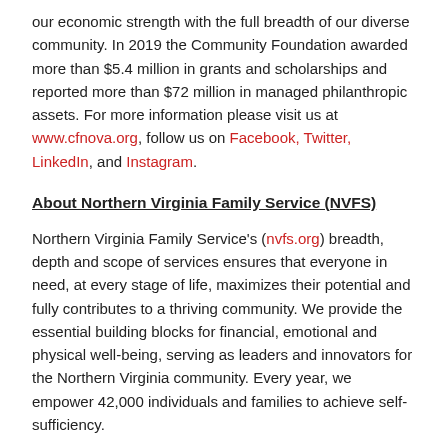our economic strength with the full breadth of our diverse community. In 2019 the Community Foundation awarded more than $5.4 million in grants and scholarships and reported more than $72 million in managed philanthropic assets. For more information please visit us at www.cfnova.org, follow us on Facebook, Twitter, LinkedIn, and Instagram.
About Northern Virginia Family Service (NVFS)
Northern Virginia Family Service's (nvfs.org) breadth, depth and scope of services ensures that everyone in need, at every stage of life, maximizes their potential and fully contributes to a thriving community. We provide the essential building blocks for financial, emotional and physical well-being, serving as leaders and innovators for the Northern Virginia community. Every year, we empower 42,000 individuals and families to achieve self-sufficiency.
###